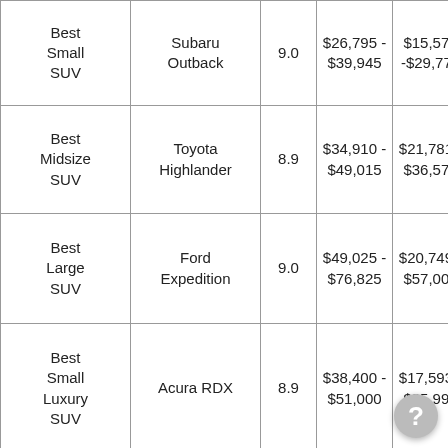| Category | Model | Score | MSRP Range | Used Price Range |
| --- | --- | --- | --- | --- |
| Best Small SUV | Subaru Outback | 9.0 | $26,795 - $39,945 | $15,577 -$29,773 |
| Best Midsize SUV | Toyota Highlander | 8.9 | $34,910 - $49,015 | $21,781 - $36,577 |
| Best Large SUV | Ford Expedition | 9.0 | $49,025 - $76,825 | $20,749 - $57,000 |
| Best Small Luxury SUV | Acura RDX | 8.9 | $38,400 - $51,000 | $17,593 - $35,997 |
| Best Midsize Luxury SUV | Acura MDX | 8.6 | $46,900 - $60,650 | $20,879 - $38,989 |